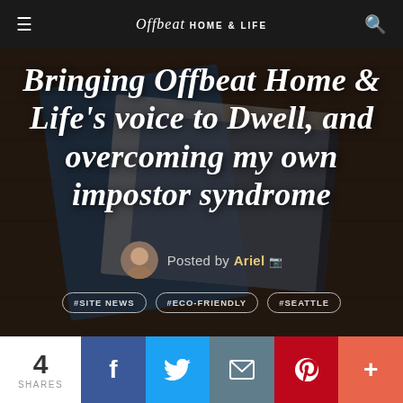Offbeat HOME & LIFE
Bringing Offbeat Home & Life's voice to Dwell, and overcoming my own impostor syndrome
Posted by Ariel
#SITE NEWS  #ECO-FRIENDLY  #SEATTLE
4 SHARES